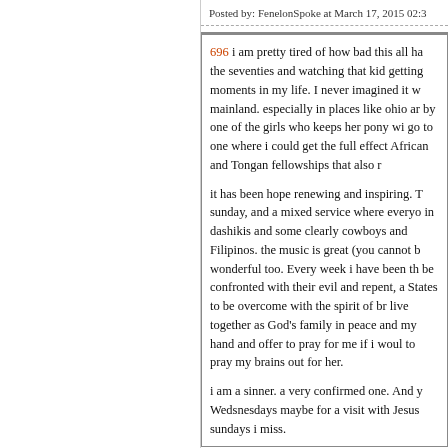Posted by: FenelonSpoke at March 17, 2015 02:3
696 i am pretty tired of how bad this all ha the seventies and watching that kid getting moments in my life. I never imagined it w mainland. especially in places like ohio ar by one of the girls who keeps her pony wi go to one where i could get the full effect African and Tongan fellowships that also r

it has been hope renewing and inspiring. T sunday, and a mixed service where everyo in dashikis and some clearly cowboys and Filipinos. the music is great (you cannot b wonderful too. Every week i have been th be confronted with their evil and repent, a States to be overcome with the spirit of br live together as God's family in peace and my hand and offer to pray for me if i woul to pray my brains out for her.

i am a sinner. a very confirmed one. And y Wedsnesdays maybe for a visit with Jesus sundays i miss.